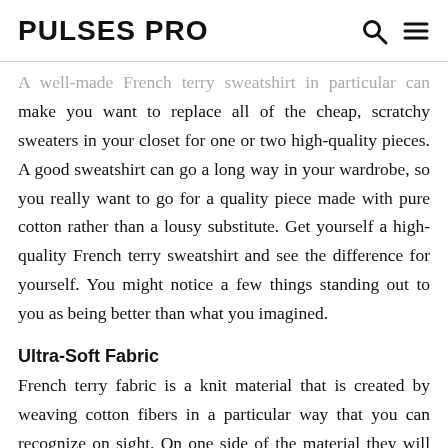PULSES PRO
A well-made French terry sweatshirt in particular can make you want to replace all of the cheap, scratchy sweaters in your closet for one or two high-quality pieces. A good sweatshirt can go a long way in your wardrobe, so you really want to go for a quality piece made with pure cotton rather than a lousy substitute. Get yourself a high-quality French terry sweatshirt and see the difference for yourself. You might notice a few things standing out to you as being better than what you imagined.
Ultra-Soft Fabric
French terry fabric is a knit material that is created by weaving cotton fibers in a particular way that you can recognize on sight. On one side of the material they will have the loops that you are used to seeing on the outside of the clothing, and on the other side they have piles of yarn lining the interior portion.